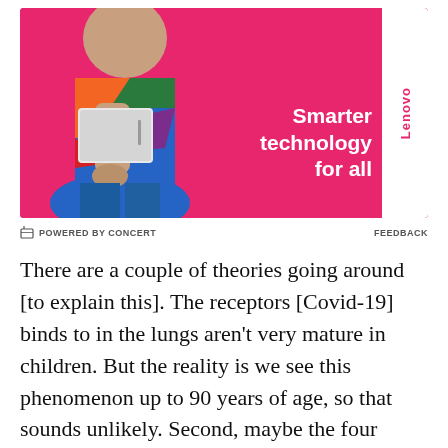[Figure (illustration): Lenovo advertisement banner on pink/magenta background showing a person in colorful clothing holding a white laptop. Text reads 'Smarter technology for all' with Lenovo logo tab on right side.]
⊟ POWERED BY CONCERT    FEEDBACK
There are a couple of theories going around [to explain this]. The receptors [Covid-19] binds to in the lungs aren't very mature in children. But the reality is we see this phenomenon up to 90 years of age, so that sounds unlikely. Second, maybe the four coronaviruses that cause colds confer some temporary immunity in kids. But then why aren't the elderly [protected]?